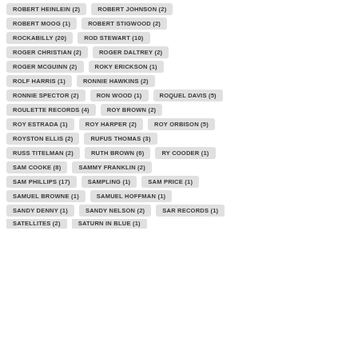ROBERT HEINLEIN (2)
ROBERT JOHNSON (2)
ROBERT MOOG (1)
ROBERT STIGWOOD (2)
ROCKABILLY (20)
ROD STEWART (10)
ROGER CHRISTIAN (2)
ROGER DALTREY (2)
ROGER MCGUINN (2)
ROKY ERICKSON (1)
ROLF HARRIS (1)
RONNIE HAWKINS (2)
RONNIE SPECTOR (2)
RON WOOD (1)
ROQUEL DAVIS (5)
ROULETTE RECORDS (4)
ROY BROWN (2)
ROY ESTRADA (1)
ROY HARPER (2)
ROY ORBISON (5)
ROYSTON ELLIS (2)
RUFUS THOMAS (3)
RUSS TITELMAN (2)
RUTH BROWN (6)
RY COODER (1)
SAM COOKE (8)
SAMMY FRANKLIN (2)
SAM PHILLIPS (17)
SAMPLING (1)
SAM PRICE (1)
SAMUEL BROWNE (1)
SAMUEL HOFFMAN (1)
SANDY DENNY (1)
SANDY NELSON (2)
SAR RECORDS (1)